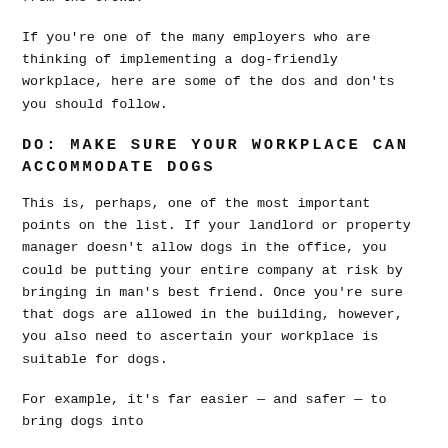increasingly competitive job market, introducing dogs to your office is a great way to stand out from the crowd.
If you're one of the many employers who are thinking of implementing a dog-friendly workplace, here are some of the dos and don'ts you should follow.
DO: MAKE SURE YOUR WORKPLACE CAN ACCOMMODATE DOGS
This is, perhaps, one of the most important points on the list. If your landlord or property manager doesn't allow dogs in the office, you could be putting your entire company at risk by bringing in man's best friend. Once you're sure that dogs are allowed in the building, however, you also need to ascertain your workplace is suitable for dogs.
For example, it's far easier — and safer — to bring dogs into